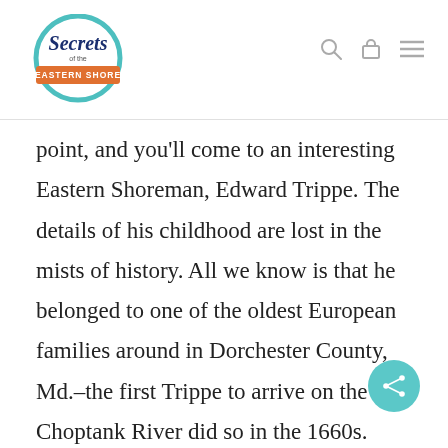Secrets of the Eastern Shore [logo with navigation icons]
point, and you'll come to an interesting Eastern Shoreman, Edward Trippe. The details of his childhood are lost in the mists of history. All we know is that he belonged to one of the oldest European families around in Dorchester County, Md.–the first Trippe to arrive on the Choptank River did so in the 1660s. Edward came along in 1771, born into a home at Todd's Point in what people